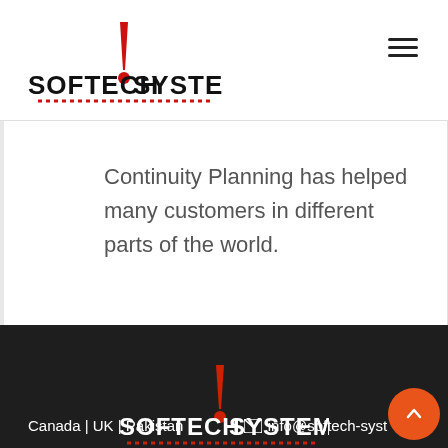[Figure (logo): Softech Systems logo with red exclamation mark and red dotted underline, black text on white background]
Continuity Planning has helped many customers in different parts of the world.
[Figure (logo): Softech Systems logo in white text with red exclamation mark and red dotted underline on dark background]
Canada | UK | Pakistan   info@softech-systems.com